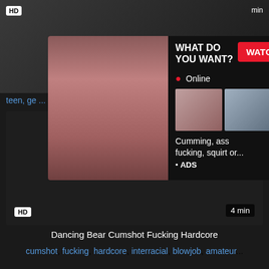[Figure (screenshot): Adult website screenshot showing video thumbnails with an ad overlay popup. Top area shows a partial video thumbnail with HD badge and duration. An ad overlay shows text 'WHAT DO YOU WANT?' with a red WATCH button, Online status, thumbnail previews, and text 'Cumming, ass fucking, squirt or... ADS'. Tags row shows 'teen,' and other tags. Bottom video thumbnail is dark with HD badge and '4 min' duration label.]
Dancing Bear Cumshot Fucking Hardcore
cumshot, fucking, hardcore, interracial, blowjob, amateur...